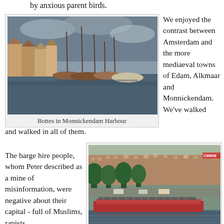by anxious parent birds.
[Figure (photo): Bottes (traditional Dutch boats) moored in Monnickendam Harbour, with historic buildings and overcast sky]
Bottes in Monnickendam Harbour
We enjoyed the contrast between Amsterdam and the more mediaeval towns of Edam, Alkmaar and Monnickendam. We've walked and walked in all of them.
The barge hire people, whom Peter described as a mine of misinformation, were negative about their capital - full of Muslims, rapists
[Figure (photo): A floating bike park barge on an Amsterdam canal, jam-packed with bicycles, with canal houses and trees in the background]
Floating bike park, jam-packed...